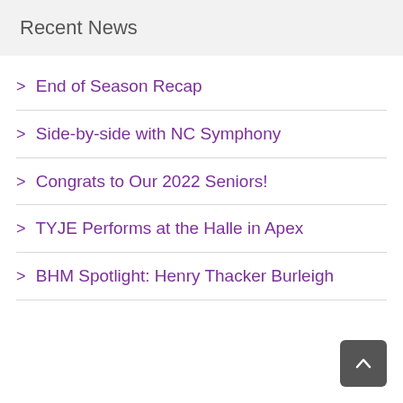Recent News
> End of Season Recap
> Side-by-side with NC Symphony
> Congrats to Our 2022 Seniors!
> TYJE Performs at the Halle in Apex
> BHM Spotlight: Henry Thacker Burleigh